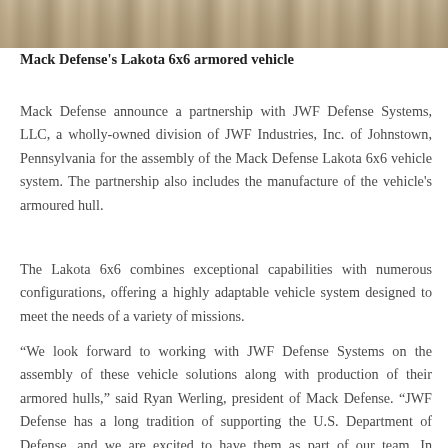[Figure (photo): Partial view of the Mack Defense Lakota 6x6 armored vehicle, top of image cropped]
Mack Defense's Lakota 6x6 armored vehicle
Mack Defense announce a partnership with JWF Defense Systems, LLC, a wholly-owned division of JWF Industries, Inc. of Johnstown, Pennsylvania for the assembly of the Mack Defense Lakota 6x6 vehicle system. The partnership also includes the manufacture of the vehicle's armoured hull.
The Lakota 6x6 combines exceptional capabilities with numerous configurations, offering a highly adaptable vehicle system designed to meet the needs of a variety of missions.
“We look forward to working with JWF Defense Systems on the assembly of these vehicle solutions along with production of their armored hulls,” said Ryan Werling, president of Mack Defense. “JWF Defense has a long tradition of supporting the U.S. Department of Defense, and we are excited to have them as part of our team. In addition to the partnership for the Lakota system, we